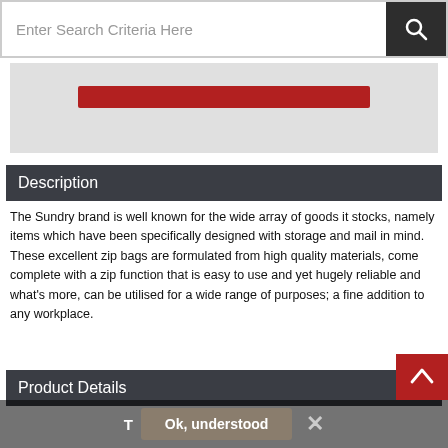Enter Search Criteria Here
[Figure (screenshot): Product image area with a red button element on a light grey background]
Description
The Sundry brand is well known for the wide array of goods it stocks, namely items which have been specifically designed with storage and mail in mind. These excellent zip bags are formulated from high quality materials, come complete with a zip function that is easy to use and yet hugely reliable and what's more, can be utilised for a wide range of purposes; a fine addition to any workplace.
Product Details
Ok, understood